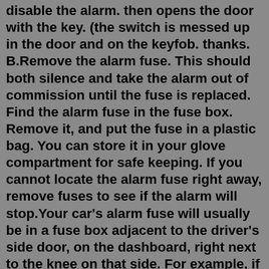disable the alarm. then opens the door with the key. (the switch is messed up in the door and on the keyfob. thanks. B.Remove the alarm fuse. This should both silence and take the alarm out of commission until the fuse is replaced. Find the alarm fuse in the fuse box. Remove it, and put the fuse in a plastic bag. You can store it in your glove compartment for safe keeping. If you cannot locate the alarm fuse right away, remove fuses to see if the alarm will stop.Your car's alarm fuse will usually be in a fuse box adjacent to the driver's side door, on the dashboard, right next to the knee on that side. For example, if your driver's seat is on the left of the car, the fuse box is located to the left of the steering column, right in front of where your left knee would be facing when in the seat. Step 2: Wiring. 1. First off, for safety, disconnect the ground (black cable) from your battery. Be advised that you will lose your presets on your radio, but that's going to happen in the next step anyway and at least you're less likely to be shocked. Fuse box diagram. Identifying and legend fuse box Audi A4